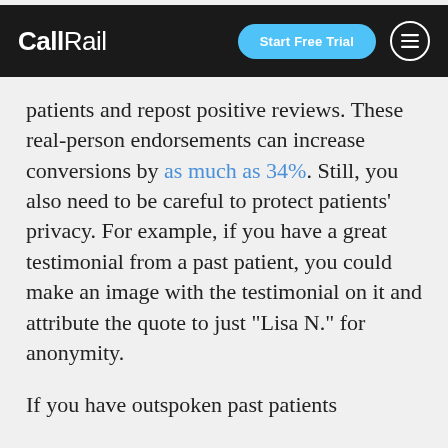CallRail | Start Free Trial
patients and repost positive reviews. These real-person endorsements can increase conversions by as much as 34%. Still, you also need to be careful to protect patients’ privacy. For example, if you have a great testimonial from a past patient, you could make an image with the testimonial on it and attribute the quote to just “Lisa N.” for anonymity.
If you have outspoken past patients